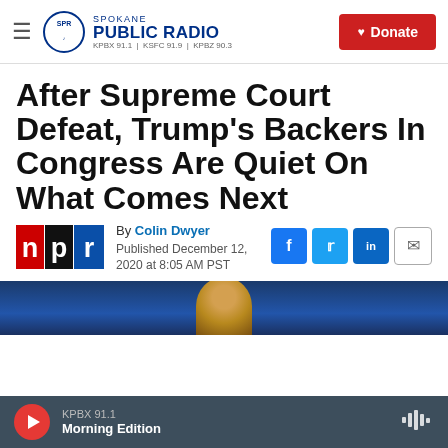Spokane Public Radio — KPBX 91.1 | KSFC 91.9 | KPBZ 90.3 — Donate
After Supreme Court Defeat, Trump's Backers In Congress Are Quiet On What Comes Next
By Colin Dwyer
Published December 12, 2020 at 8:05 AM PST
[Figure (logo): NPR logo with red n, black p, blue r squares]
[Figure (photo): Partial photo visible at bottom showing a person against a dark blue background]
KPBX 91.1
Morning Edition